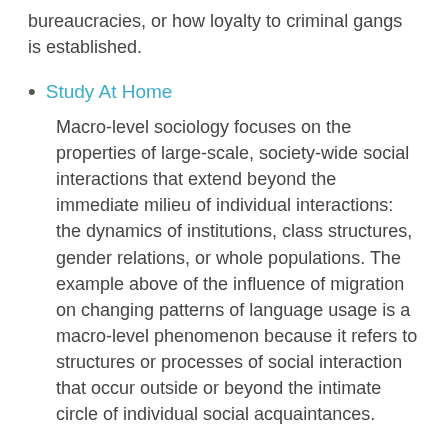bureaucracies, or how loyalty to criminal gangs is established.
Study At Home
Macro-level sociology focuses on the properties of large-scale, society-wide social interactions that extend beyond the immediate milieu of individual interactions: the dynamics of institutions, class structures, gender relations, or whole populations. The example above of the influence of migration on changing patterns of language usage is a macro-level phenomenon because it refers to structures or processes of social interaction that occur outside or beyond the intimate circle of individual social acquaintances.
Ferrante Chapter 1 Test Bank
These include the economic, political, and other circumstances that lead to migration; the educational, media, and other communication